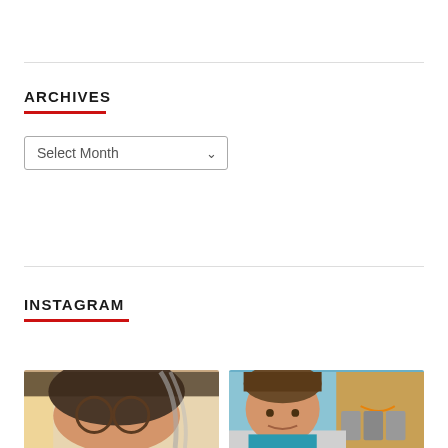ARCHIVES
Select Month
INSTAGRAM
[Figure (photo): Selfie of a woman with glasses and gray-streaked dark hair, with pencil-themed background decorations]
[Figure (photo): Young boy in a teal shirt smiling, sitting near an Amazon box and kitchen counter]